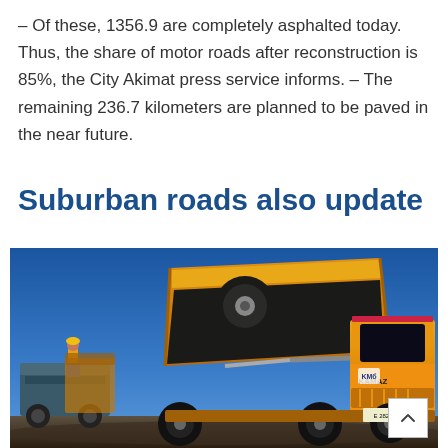– Of these, 1356.9 are completely asphalted today. Thus, the share of motor roads after reconstruction is 85%, the City Akimat press service informs. – The remaining 236.7 kilometers are planned to be paved in the near future.
Suburban roads also update
[Figure (photo): An orange KAMAZ dump truck at a road construction site, with the bed raised. Blue sky in background. Other construction machinery and a worker visible on the left side.]